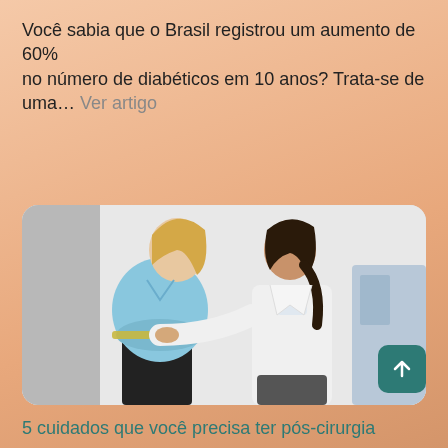Você sabia que o Brasil registrou um aumento de 60% no número de diabéticos em 10 anos? Trata-se de uma… Ver artigo
LEIA MAIS
[Figure (photo): A female doctor in a white coat measuring the waist of an overweight woman in a blue t-shirt using a measuring tape.]
5 cuidados que você precisa ter pós-cirurgia